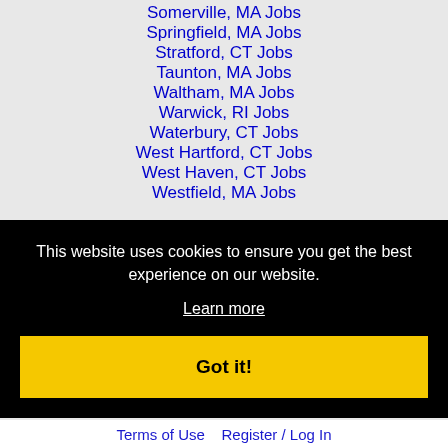Somerville, MA Jobs
Springfield, MA Jobs
Stratford, CT Jobs
Taunton, MA Jobs
Waltham, MA Jobs
Warwick, RI Jobs
Waterbury, CT Jobs
West Hartford, CT Jobs
West Haven, CT Jobs
Westfield, MA Jobs
This website uses cookies to ensure you get the best experience on our website.
Learn more
Got it!
Terms of Use   Register / Log In